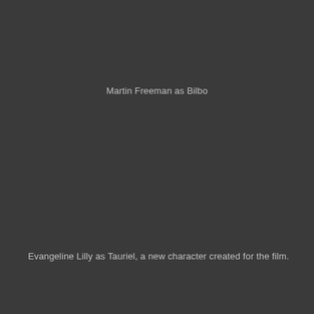Martin Freeman as Bilbo
Evangeline Lilly as Tauriel, a new character created for the film.